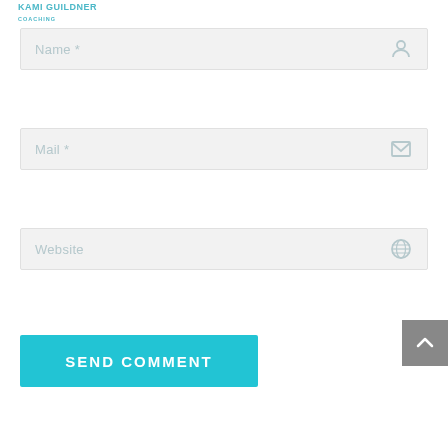[Figure (logo): Kami Guildner Coaching logo with teal text and abstract mark]
Name *
Mail *
Website
SEND COMMENT